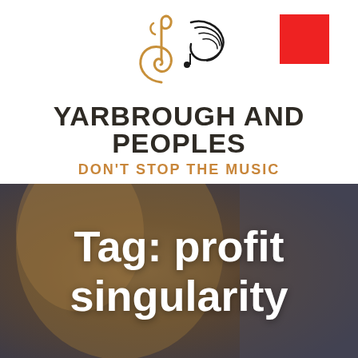[Figure (logo): Musical treble clef and swirling musical notes graphic logo for Yarbrough and Peoples]
YARBROUGH AND PEOPLES
DON'T STOP THE MUSIC
[Figure (photo): Blurred dark warm-toned background photo, possibly of a person or instrument]
Tag: profit singularity